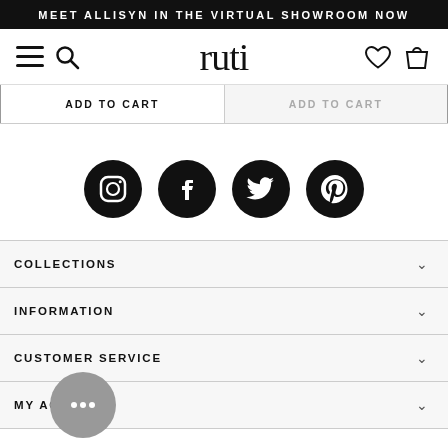MEET ALLISYN IN THE VIRTUAL SHOWROOM NOW
[Figure (screenshot): Ruti website navigation bar with hamburger menu, search icon, ruti logo, heart and bag icons]
ADD TO CART | ADD TO CART
[Figure (illustration): Social media icons: Instagram, Facebook, Twitter, Pinterest]
COLLECTIONS
INFORMATION
CUSTOMER SERVICE
MY ACCOUNT
[Figure (illustration): Chat bubble widget with three dots]